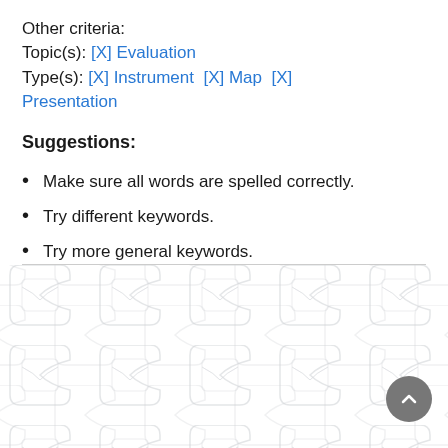Other criteria:
Topic(s): [X] Evaluation
Type(s): [X] Instrument  [X] Map  [X] Presentation
Suggestions:
Make sure all words are spelled correctly.
Try different keywords.
Try more general keywords.